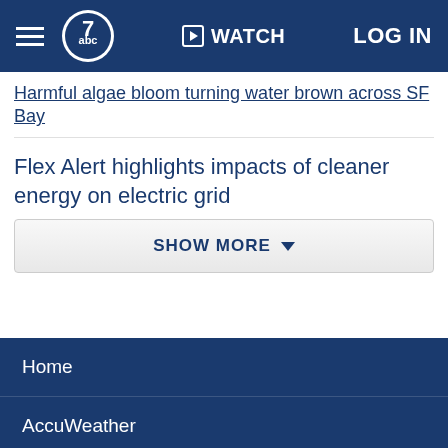abc7 | WATCH | LOG IN
Harmful algae bloom turning water brown across SF Bay
Flex Alert highlights impacts of cleaner energy on electric grid
SHOW MORE
Home
AccuWeather
Traffic
Local News
Categories
Station Info
Shows
Apps